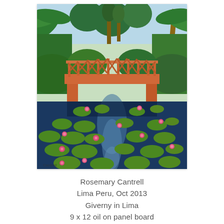[Figure (illustration): Oil painting of a Monet-inspired garden scene with a wooden bridge over a lily pond. Lush tropical vegetation with palm trees in background. Water lilies with pink flowers float on a dark blue pond in the foreground. An orange-red wooden bridge with X-pattern railings spans the middle of the composition.]
Rosemary Cantrell
Lima Peru, Oct 2013
Giverny in Lima
9 x 12 oil on panel board